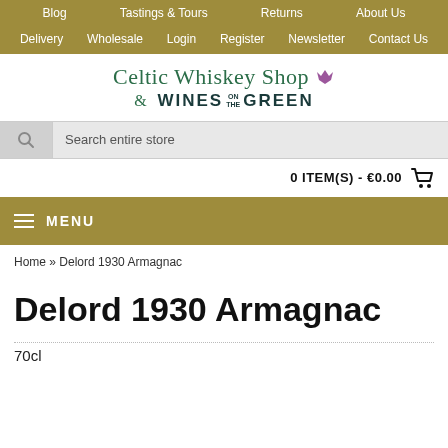Blog | Tastings & Tours | Returns | About Us | Delivery | Wholesale | Login | Register | Newsletter | Contact Us
[Figure (logo): Celtic Whiskey Shop & Wines on the Green logo with purple clover/shamrock icon]
Search entire store
0 ITEM(S) - €0.00
MENU
Home » Delord 1930 Armagnac
Delord 1930 Armagnac
70cl